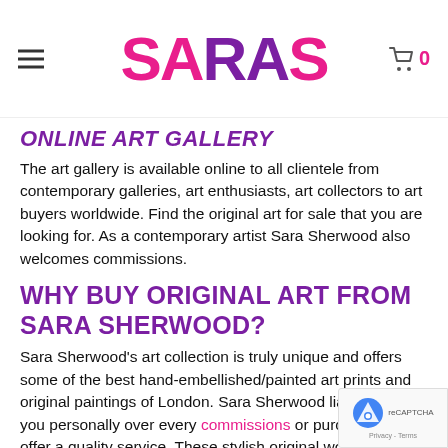SARAS (logo) - navigation header with hamburger menu and cart
ONLINE ART GALLERY
The art gallery is available online to all clientele from contemporary galleries, art enthusiasts, art collectors to art buyers worldwide. Find the original art for sale that you are looking for. As a contemporary artist Sara Sherwood also welcomes commissions.
WHY BUY ORIGINAL ART FROM SARA SHERWOOD?
Sara Sherwood's art collection is truly unique and offers some of the best hand-embellished/painted art prints and original paintings of London. Sara Sherwood liaises with you personally over every commissions or purchase to offer a quality service. These stylish original works of art can transform your space into a